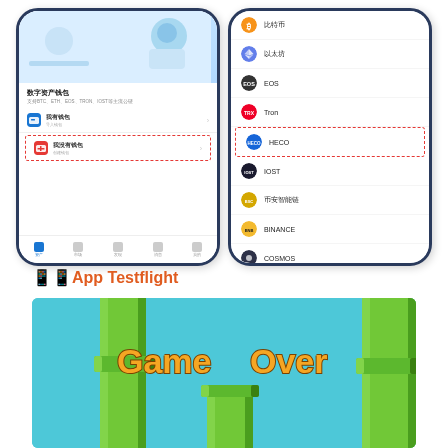[Figure (screenshot): Two side-by-side smartphone screenshots of a cryptocurrency wallet app. Left phone shows a digital asset wallet (数字资产钱包) home screen with menu items in Chinese; one item highlighted with a red dashed border. Right phone shows a list of cryptocurrencies: 比特币, 以太坊, EOS, Tron, HECO (highlighted), IOST, 币安智能链, BINANCE, COSMOS, with coin icons.]
📱📱App Testflight
[Figure (screenshot): Screenshot of Flappy Bird 'Game Over' screen with green pipes and teal background, showing stylized yellow 'Game Over' text.]